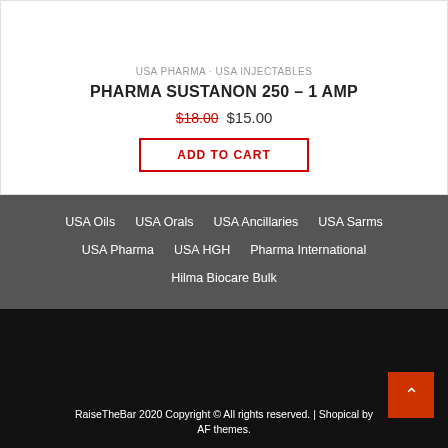USA PHARMA · USA INJECTABLES
PHARMA SUSTANON 250 – 1 AMP
$18.00  $15.00
ADD TO CART
USA Oils
USA Orals
USA Ancillaries
USA Sarms
USA Pharma
USA HGH
Pharma International
Hilma Biocare Bulk
RaiseTheBar 2020 Copyright © All rights reserved. | Shopical by AF themes.